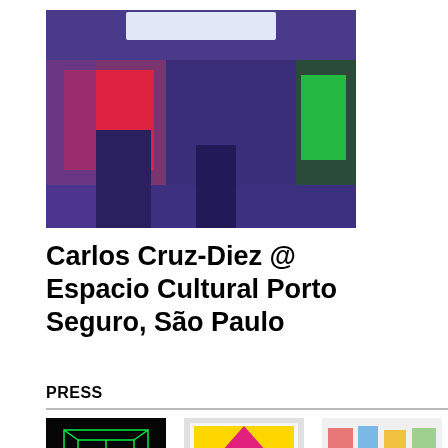[Figure (photo): Installation art photo showing a purple-lit room with glowing red, green, and white light panels/projections]
Carlos Cruz-Diez @ Espacio Cultural Porto Seguro, São Paulo
PRESS
[Figure (photo): Photo of glowing green neon architectural structure on black background]
[Figure (photo): Photo of colorful geometric painting with triangular shapes in magenta, yellow, blue, black, white]
[Figure (photo): Photo of gallery exhibition with people viewing colorful artworks on white walls]